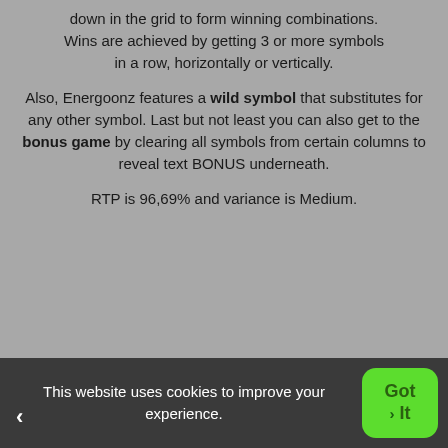down in the grid to form winning combinations. Wins are achieved by getting 3 or more symbols in a row, horizontally or vertically.
Also, Energoonz features a wild symbol that substitutes for any other symbol. Last but not least you can also get to the bonus game by clearing all symbols from certain columns to reveal text BONUS underneath.
RTP is 96,69% and variance is Medium.
This website uses cookies to improve your experience.  Got It